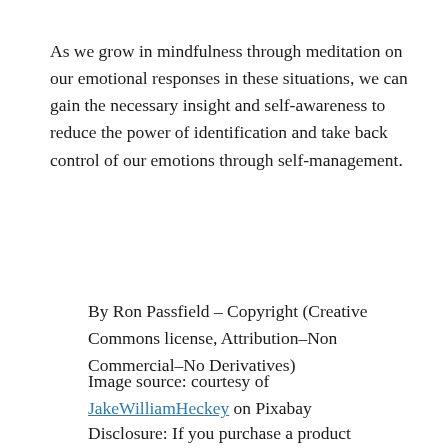As we grow in mindfulness through meditation on our emotional responses in these situations, we can gain the necessary insight and self-awareness to reduce the power of identification and take back control of our emotions through self-management.
By Ron Passfield – Copyright (Creative Commons license, Attribution–Non Commercial–No Derivatives)
Image source: courtesy of JakeWilliamHeckey on Pixabay
Disclosure: If you purchase a product